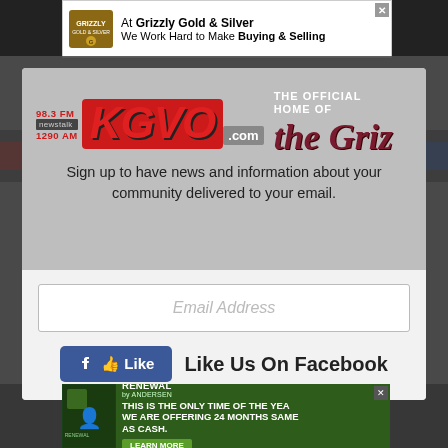[Figure (screenshot): Top advertisement banner for Grizzly Gold & Silver: 'At Grizzly Gold & Silver We Work Hard to Make Buying & Selling']
[Figure (logo): KGVO 98.3 FM Newstalk 1290 AM radio station logo with text 'THE OFFICIAL HOME OF the Griz']
Sign up to have news and information about your community delivered to your email.
[Figure (screenshot): Email address input field with placeholder text 'Email Address']
[Figure (screenshot): Facebook Like button followed by text 'Like Us On Facebook']
[Figure (screenshot): Bottom advertisement for Renewal by Andersen: 'THIS IS THE ONLY TIME OF THE YEAR WE ARE OFFERING 24 MONTHS SAME AS CASH. LEARN MORE']